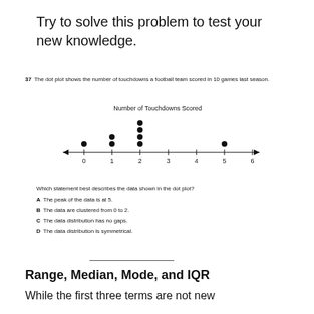Try to solve this problem to test your new knowledge.
37  The dot plot shows the number of touchdowns a football team scored in 10 games last season.
[Figure (other): A dot plot titled 'Number of Touchdowns Scored'. The number line runs from 0 to 6. Dots are stacked: 1 dot above 0, 2 dots above 1, 4 dots above 2, 0 dots above 3, 0 dots above 4, 1 dot above 5, 0 dots above 6.]
Which statement best describes the data shown in the dot plot?
A  The peak of the data is at 5.
B  The data are clustered from 0 to 2.
C  The data distribution has no gaps.
D  The data distribution is symmetrical.
Range, Median, Mode, and IQR
While the first three terms are not new